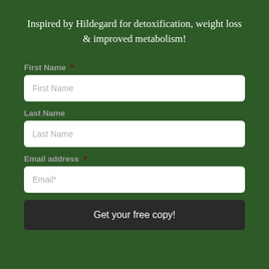Inspired by Hildegard for detoxification, weight loss & improved metabolism!
First Name *
First Name
Last Name
Last Name
Email address *
Email*
Get your free copy!